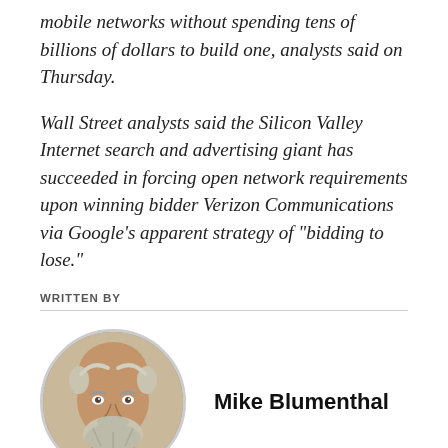mobile networks without spending tens of billions of dollars to build one, analysts said on Thursday.
Wall Street analysts said the Silicon Valley Internet search and advertising giant has succeeded in forcing open network requirements upon winning bidder Verizon Communications via Google’s apparent strategy of “bidding to lose.”
WRITTEN BY
[Figure (photo): Circular portrait photo of Mike Blumenthal, a middle-aged man with a white/grey beard and balding head, smiling.]
Mike Blumenthal